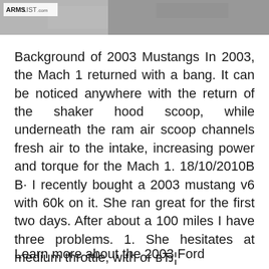[Figure (photo): Header image showing a gray/blurred background with ARMSLIST.com logo in upper left corner on a white background strip]
Background of 2003 Mustangs In 2003, the Mach 1 returned with a bang. It can be noticed anywhere with the return of the shaker hood scoop, while underneath the ram air scoop channels fresh air to the intake, increasing power and torque for the Mach 1. 18/10/2010В В· I recently bought a 2003 mustang v6 with 60k on it. She ran great for the first two days. After about a 100 miles I have three problems. 1. She hesitates at medium throttle, with or вЂ¦
Learn more about the 2003 Ford